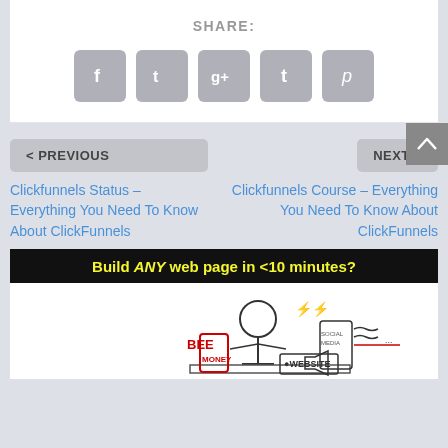SHARE:
[Figure (infographic): Social share buttons: Facebook, Twitter, Google+, Tumblr, Pinterest — rounded square gray icons]
< PREVIOUS
NEXT >
Clickfunnels Status – Everything You Need To Know About ClickFunnels
Clickfunnels Course – Everything You Need To Know About ClickFunnels
[Figure (illustration): Ad banner: black header 'Build ANY web page in <10 minutes?' with cartoon illustration of person at desk with phones and devices, text including BEEP, MONEY, WEBSITE]